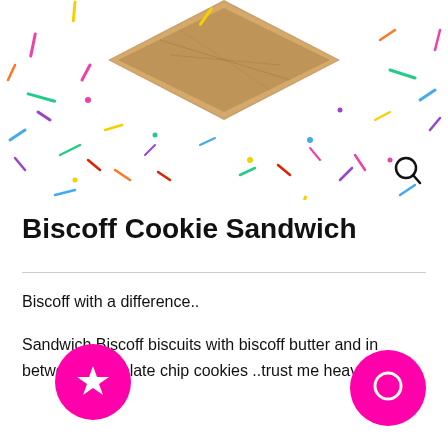[Figure (photo): Top portion of page showing a cookie/biscoff item with colorful confetti sprinkles decoration and a search icon, partial website header]
Biscoff Cookie Sandwich
Biscoff with a difference..
Sandwich Biscoff biscuits with biscoff butter and in between chocolate chip cookies ..trust me heaven!